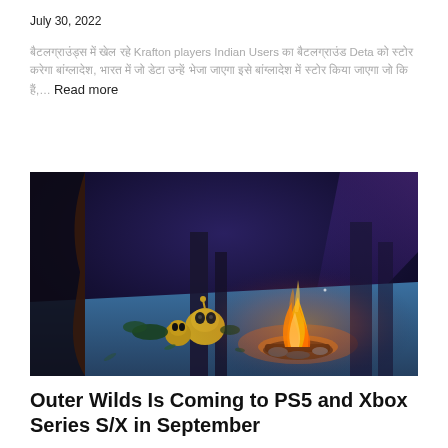July 30, 2022
बैटलग्राउंड्स में खेल रहे Krafton players Indian Users का बैटलग्राउंड Deta को स्टोर करेगा बांग्लादेश, भारत में जो डेटा उन्हें भेजा जाएगा इसे बांग्लादेश में स्टोर किया जाएगा जो कि हैं,… Read more
[Figure (photo): Screenshot from a video game showing fantasy characters around a campfire at night, with blue atmospheric lighting. Small creature characters sit near a large bonfire with rocks around it.]
Outer Wilds Is Coming to PS5 and Xbox Series S/X in September